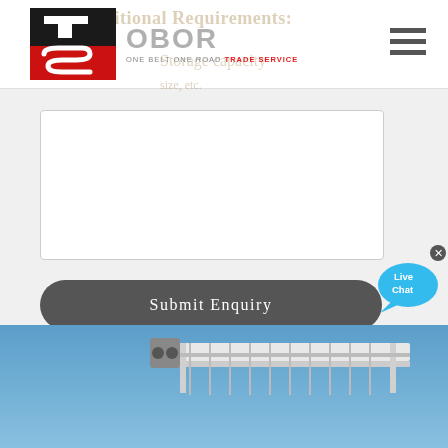OBOR ONE BELT ONE ROAD TRADE SERVICE
[Figure (logo): TS / OBOR One Belt One Road Trade Service logo with red and black geometric icon]
[Figure (other): Textarea input field for additional requirements]
[Figure (other): Submit Enquiry button (dark rounded rectangle)]
We do NOT share your information.
[Figure (other): Live Chat speech bubble widget]
[Figure (photo): Industrial conveyor belt structure against a blue sky, partially visible at the bottom of the page]